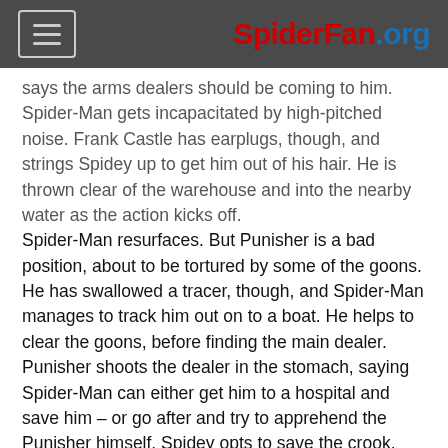SpiderFan.org
says the arms dealers should be coming to him. Spider-Man gets incapacitated by high-pitched noise. Frank Castle has earplugs, though, and strings Spidey up to get him out of his hair. He is thrown clear of the warehouse and into the nearby water as the action kicks off.
Spider-Man resurfaces. But Punisher is a bad position, about to be tortured by some of the goons. He has swallowed a tracer, though, and Spider-Man manages to track him out on to a boat. He helps to clear the goons, before finding the main dealer. Punisher shoots the dealer in the stomach, saying Spider-Man can either get him to a hospital and save him – or go after and try to apprehend the Punisher himself. Spidey opts to save the crook.
General Comments
As the page that is ...